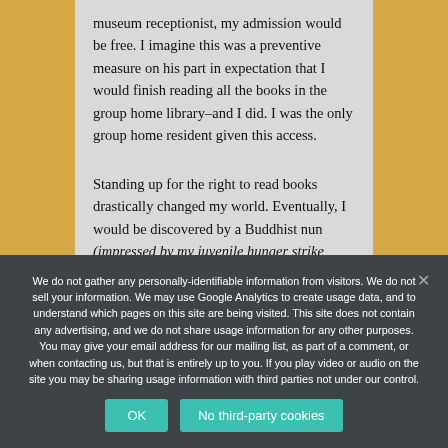museum receptionist, my admission would be free. I imagine this was a preventive measure on his part in expectation that I would finish reading all the books in the group home library–and I did. I was the only group home resident given this access.
Standing up for the right to read books drastically changed my world. Eventually, I would be discovered by a Buddhist nun (impressed by my juvenile hunger strike story) and along with her monastic community, provided me with a free five-
We do not gather any personally-identifiable information from visitors. We do not sell your information. We may use Google Analytics to create usage data, and to understand which pages on this site are being visited. This site does not contain any advertising, and we do not share usage information for any other purposes. You may give your email address for our mailing list, as part of a comment, or when contacting us, but that is entirely up to you. If you play video or audio on the site you may be sharing usage information with third parties not under our control.